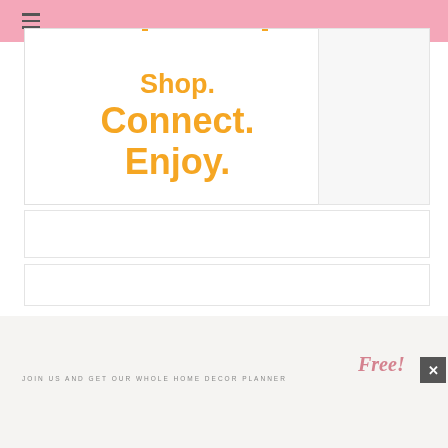[Figure (illustration): Orange bold text reading 'Shop. Connect. Enjoy.' with a partial circle arc graphic above, set on a white card with pink header bar and hamburger menu icon]
Shop. Connect. Enjoy.
JOIN US AND GET OUR WHOLE HOME DECOR PLANNER Free!